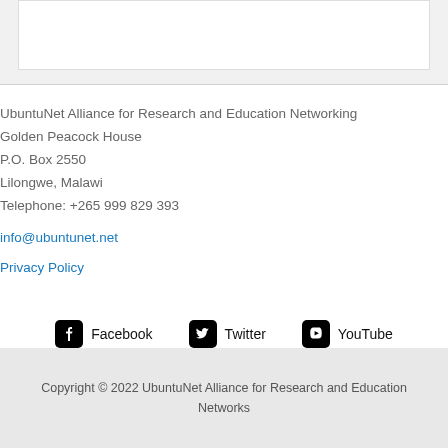UbuntuNet Alliance for Research and Education Networking
Golden Peacock House
P.O. Box 2550
Lilongwe, Malawi
Telephone: +265 999 829 393
info@ubuntunet.net
Privacy Policy
[Figure (infographic): Social media icons and labels: Facebook, Twitter, YouTube]
Copyright © 2022 UbuntuNet Alliance for Research and Education Networks